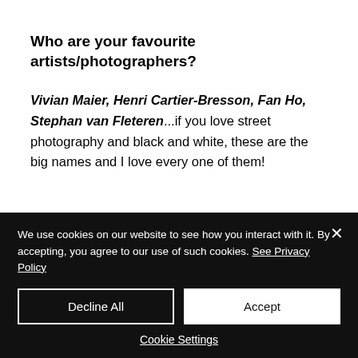Who are your favourite artists/photographers?
Vivian Maier, Henri Cartier-Bresson, Fan Ho, Stephan van Fleteren...if you love street photography and black and white, these are the big names and I love every one of them!
Alan Schaller, Vulture Labs, Thomas
We use cookies on our website to see how you interact with it. By accepting, you agree to our use of such cookies. See Privacy Policy
Decline All
Accept
Cookie Settings